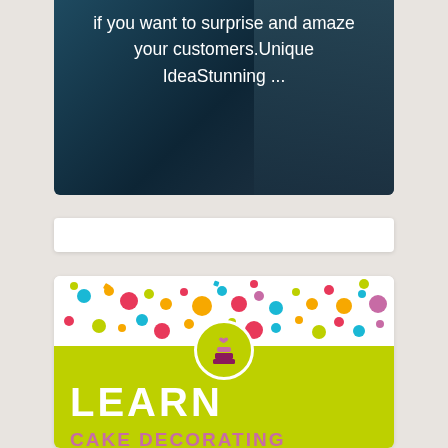[Figure (screenshot): Dark blue banner card with text overlay: 'if you want to surprise and amaze your customers.Unique IdeaStunning ...' with a blurred background image]
[Figure (illustration): White search/input bar]
[Figure (infographic): Cake decorating course advertisement card with confetti dots at top, lime green background, cake icon in circle, bold text reading LEARN CAKE DECORATING ONLINE]